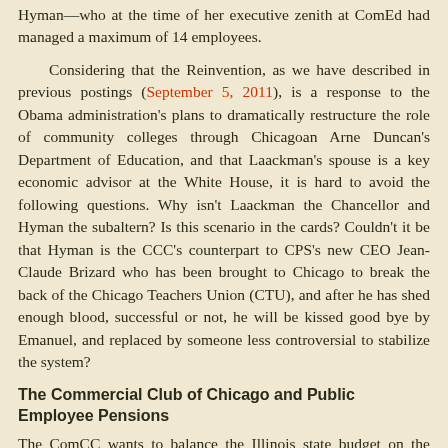Hyman—who at the time of her executive zenith at ComEd had managed a maximum of 14 employees.
Considering that the Reinvention, as we have described in previous postings (September 5, 2011), is a response to the Obama administration's plans to dramatically restructure the role of community colleges through Chicagoan Arne Duncan's Department of Education, and that Laackman's spouse is a key economic advisor at the White House, it is hard to avoid the following questions. Why isn't Laackman the Chancellor and Hyman the subaltern? Is this scenario in the cards? Couldn't it be that Hyman is the CCC's counterpart to CPS's new CEO Jean-Claude Brizard who has been brought to Chicago to break the back of the Chicago Teachers Union (CTU), and after he has shed enough blood, successful or not, he will be kissed good bye by Emanuel, and replaced by someone less controversial to stabilize the system?
The Commercial Club of Chicago and Public Employee Pensions
The ComCC wants to balance the Illinois state budget on the backs and corpses of public employees. Not content with